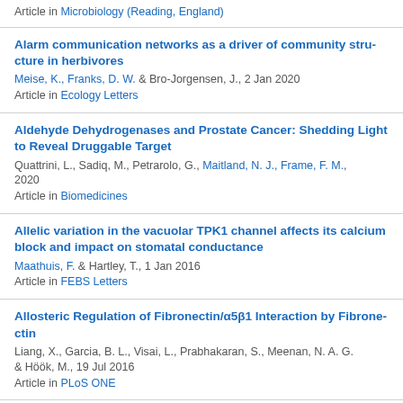Article in Microbiology (Reading, England)
Alarm communication networks as a driver of community structure in herbivores
Meise, K., Franks, D. W. & Bro-Jorgensen, J., 2 Jan 2020
Article in Ecology Letters
Aldehyde Dehydrogenases and Prostate Cancer: Shedding Light to Reveal Druggable Target
Quattrini, L., Sadiq, M., Petrarolo, G., Maitland, N. J., Frame, F. M., 2020
Article in Biomedicines
Allelic variation in the vacuolar TPK1 channel affects its calcium block and impact on stomatal conductance
Maathuis, F. & Hartley, T., 1 Jan 2016
Article in FEBS Letters
Allosteric Regulation of Fibronectin/α5β1 Interaction by Fibronectin
Liang, X., Garcia, B. L., Visai, L., Prabhakaran, S., Meenan, N. A. G. & Höök, M., 19 Jul 2016
Article in PLoS ONE
Alpha-v-containing integrins are host receptors for the Plasmodium surface protein, TRAP.
Dundas, K., Shears, M. J., Sun, Y., Hopp, C. S., Crosnier, C., Metca...
Billker, O. & Wright, G. J., 24 Apr 2018